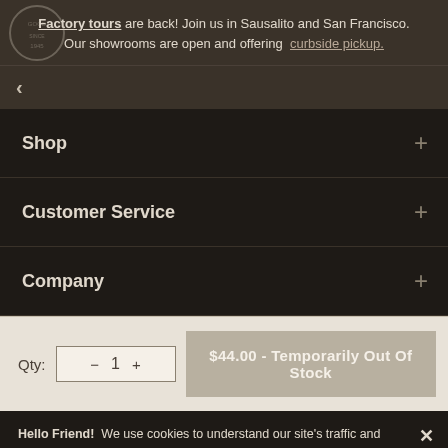Factory tours are back! Join us in Sausalito and San Francisco. Our showrooms are open and offering curbside pickup.
< (back navigation)
Shop +
Customer Service +
Company +
Qty: - 1 + $44.00 - Temporarily Out Of Stock
Hello Friend!  We use cookies to understand our site's traffic and behavior to make using our site as enjoyable as possible. By using this site you agree to our PrivacyPolicy.  Thank you!